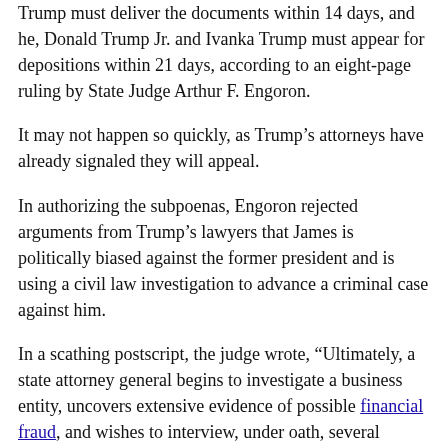Trump must deliver the documents within 14 days, and he, Donald Trump Jr. and Ivanka Trump must appear for depositions within 21 days, according to an eight-page ruling by State Judge Arthur F. Engoron.
It may not happen so quickly, as Trump’s attorneys have already signaled they will appeal.
In authorizing the subpoenas, Engoron rejected arguments from Trump’s lawyers that James is politically biased against the former president and is using a civil law investigation to advance a criminal case against him.
In a scathing postscript, the judge wrote, “Ultimately, a state attorney general begins to investigate a business entity, uncovers extensive evidence of possible financial fraud, and wishes to interview, under oath, several leaders of the entities, including his namesake. . She has every right to do so.
The New York Attorney General’s Office and the Manhattan District Attorney are investigating whether Trump inflated the value of his assets to secure loans and deflated the values to reduce taxes.
Declaring victory over the decision, James said “justice has prevailed” and “no one will be allowed to stand in the way of the